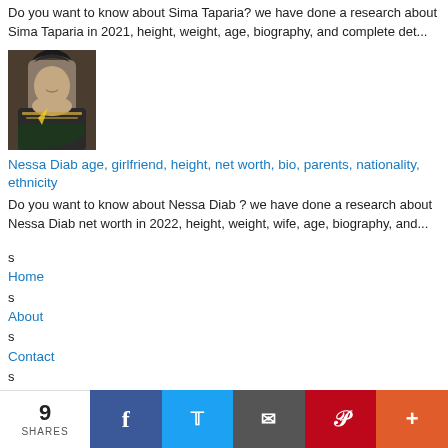Do you want to know about Sima Taparia? we have done a research about Sima Taparia in 2021, height, weight, age, biography, and complete det...
[Figure (photo): Photo of Nessa Diab, a woman with long hair wearing a dark jacket with jewelry]
Nessa Diab age, girlfriend, height, net worth, bio, parents, nationality, ethnicity
Do you want to know about Nessa Diab ? we have done a research about Nessa Diab net worth in 2022, height, weight, wife, age, biography, and...
s
Home
s
About
s
Contact
s
Advertise
9 SHARES  [Facebook] [Twitter] [Email] [Pinterest] [More]